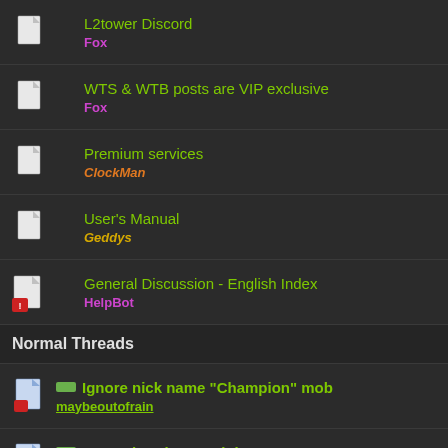L2tower Discord
Fox
WTS & WTB posts are VIP exclusive
Fox
Premium services
ClockMan
User's Manual
Geddys
General Discussion - English Index
HelpBot
Normal Threads
Ignore nick name "Champion" mob
maybeoutofrain
L2tunning-desetup.ini (Pages: 1 2)
buybuy
Help to use L2 Tower 10/10/2015
viinkami
New working version folder
ministra